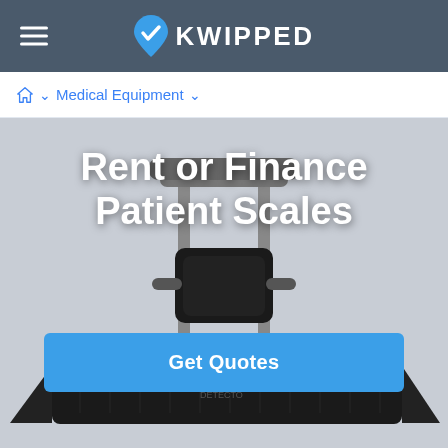KWIPPED
Home > Medical Equipment >
[Figure (photo): Medical patient weighing scale with handle and large platform base, shown on gray background]
Rent or Finance Patient Scales
Get Quotes